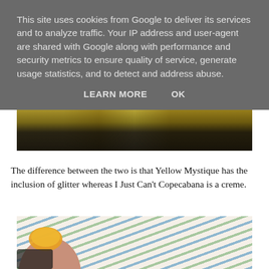This site uses cookies from Google to deliver its services and to analyze traffic. Your IP address and user-agent are shared with Google along with performance and security metrics to ensure quality of service, generate usage statistics, and to detect and address abuse.
LEARN MORE    OK
[Figure (photo): Close-up photo of nail polish bottles on a dark fabric background, showing yellow/gold colored polish]
The difference between the two is that Yellow Mystique has the inclusion of glitter whereas I Just Can't Copecabana is a creme.
[Figure (photo): Close-up photo of a finger with a yellow/orange nail polish swatch being applied, with striped fabric (blue, green, white stripes) in the background]